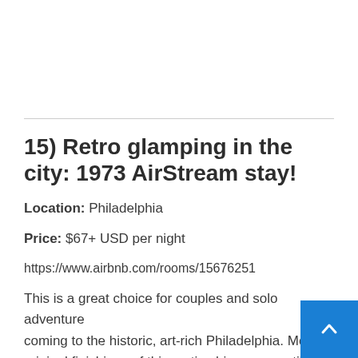15) Retro glamping in the city: 1973 AirStream stay!
Location: Philadelphia
Price: $67+ USD per night
https://www.airbnb.com/rooms/15676251
This is a great choice for couples and solo adventurers coming to the historic, art-rich Philadelphia. Most of the original finishings of this rustic-chic camper still remain